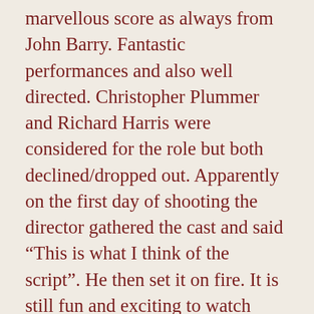marvellous score as always from John Barry. Fantastic performances and also well directed. Christopher Plummer and Richard Harris were considered for the role but both declined/dropped out. Apparently on the first day of shooting the director gathered the cast and said “This is what I think of the script”. He then set it on fire. It is still fun and exciting to watch even to this day and has stood the test of time. At the Bafta Awards in 1966 this won 3 awards. They were for Best British Art Direction (Colour), Best British Cinematography (Colour) and also Best British Film. At the start of 2013 film critic Barry Norman produced a list in the Radio Times of the 50 greatest British Films and this was one of them.